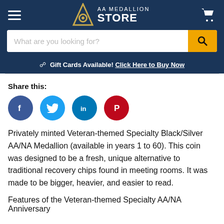AA Medallion Store
Gift Cards Available! Click Here to Buy Now
Share this:
[Figure (infographic): Social media share buttons: Facebook (dark blue circle with f), Twitter (light blue circle with bird), LinkedIn (teal circle with in), Pinterest (red circle with P)]
Privately minted Veteran-themed Specialty Black/Silver AA/NA Medallion (available in years 1 to 60). This coin was designed to be a fresh, unique alternative to traditional recovery chips found in meeting rooms. It was made to be bigger, heavier, and easier to read.
Features of the Veteran-themed Specialty AA/NA Anniversary